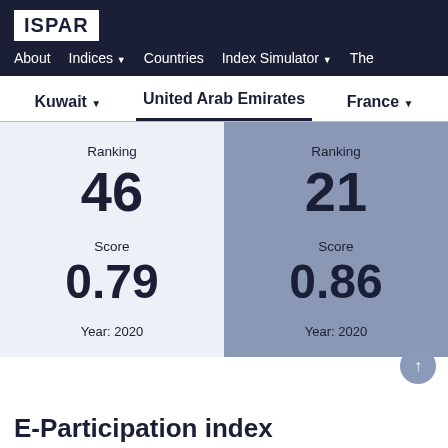ISPAR
About   Indices ▼   Countries   Index Simulator ▼   Ther
Kuwait ▼   United Arab Emirates   France ▼
|  | Kuwait | United Arab Emirates |
| --- | --- | --- |
| Ranking | 46 | 21 |
| Score | 0.79 | 0.86 |
| Year | 2020 | 2020 |
E-Participation index